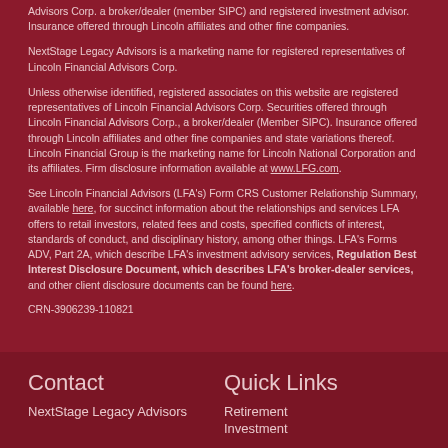Advisors Corp. a broker/dealer (member SIPC) and registered investment advisor. Insurance offered through Lincoln affiliates and other fine companies.
NextStage Legacy Advisors is a marketing name for registered representatives of Lincoln Financial Advisors Corp.
Unless otherwise identified, registered associates on this website are registered representatives of Lincoln Financial Advisors Corp. Securities offered through Lincoln Financial Advisors Corp., a broker/dealer (Member SIPC). Insurance offered through Lincoln affiliates and other fine companies and state variations thereof. Lincoln Financial Group is the marketing name for Lincoln National Corporation and its affiliates. Firm disclosure information available at www.LFG.com.
See Lincoln Financial Advisors (LFA's) Form CRS Customer Relationship Summary, available here, for succinct information about the relationships and services LFA offers to retail investors, related fees and costs, specified conflicts of interest, standards of conduct, and disciplinary history, among other things. LFA's Forms ADV, Part 2A, which describe LFA's investment advisory services, Regulation Best Interest Disclosure Document, which describes LFA's broker-dealer services, and other client disclosure documents can be found here.
CRN-3906239-110821
Contact
Quick Links
NextStage Legacy Advisors
Retirement
Investment